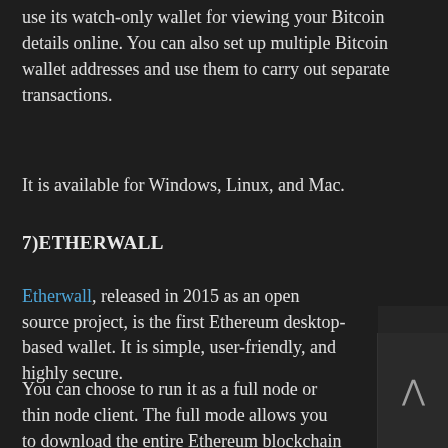use its watch-only wallet for viewing your Bitcoin details online. You can also set up multiple Bitcoin wallet addresses and use them to carry out separate transactions.
It is available for Windows, Linux, and Mac.
7)ETHERWALL
Etherwall, released in 2015 as an open source project, is the first Ethereum desktop-based wallet. It is simple, user-friendly, and highly secure.
You can choose to run it as a full node or thin node client. The full mode allows you to download the entire Ethereum blockchain on your computer. On the other hand, the thin